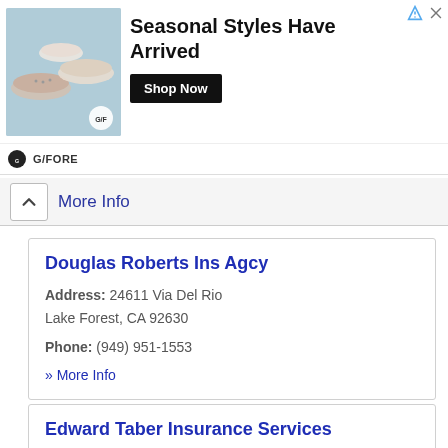[Figure (infographic): Advertisement banner for G/FORE shoes brand showing colorful shoes on a light blue background. Text reads: 'Seasonal Styles Have Arrived' with a 'Shop Now' button in black. G/FORE logo and brand name at bottom left.]
More Info
Douglas Roberts Ins Agcy
Address: 24611 Via Del Rio
Lake Forest, CA 92630
Phone: (949) 951-1553
» More Info
Edward Taber Insurance Services
Address: 21792 Sweetgrass Cir
Lake Forest, CA 92630